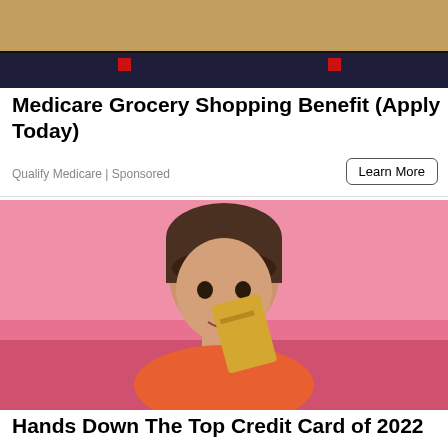[Figure (photo): Top banner image showing a building exterior with warm tan/brown upper section and dark navy lower stripe with two small red squares]
Medicare Grocery Shopping Benefit (Apply Today)
Qualify Medicare | Sponsored
[Figure (photo): Young woman with brown hair and bangs, smiling slightly, holding a gold/tan credit card up near her face against a bright pink background, wearing an orange top]
Hands Down The Top Credit Card of 2022